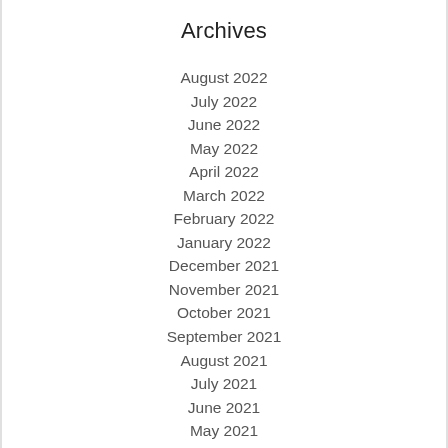Archives
August 2022
July 2022
June 2022
May 2022
April 2022
March 2022
February 2022
January 2022
December 2021
November 2021
October 2021
September 2021
August 2021
July 2021
June 2021
May 2021
April 2021
March 2021
February 2021
January 2021
December 2020
November 2020